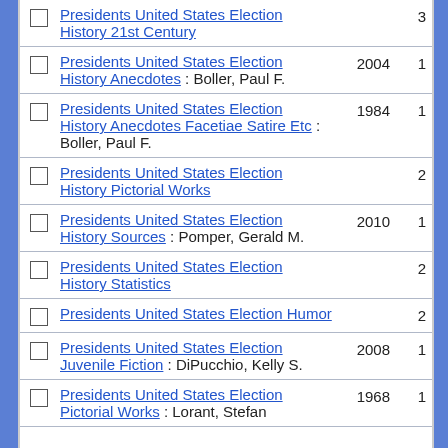|  | Title / Author | Year | Count |
| --- | --- | --- | --- |
| ☐ | Presidents United States Election History 21st Century |  | 3 |
| ☐ | Presidents United States Election History Anecdotes : Boller, Paul F. | 2004 | 1 |
| ☐ | Presidents United States Election History Anecdotes Facetiae Satire Etc : Boller, Paul F. | 1984 | 1 |
| ☐ | Presidents United States Election History Pictorial Works |  | 2 |
| ☐ | Presidents United States Election History Sources : Pomper, Gerald M. | 2010 | 1 |
| ☐ | Presidents United States Election History Statistics |  | 2 |
| ☐ | Presidents United States Election Humor |  | 2 |
| ☐ | Presidents United States Election Juvenile Fiction : DiPucchio, Kelly S. | 2008 | 1 |
| ☐ | Presidents United States Election Pictorial Works : Lorant, Stefan | 1968 | 1 |